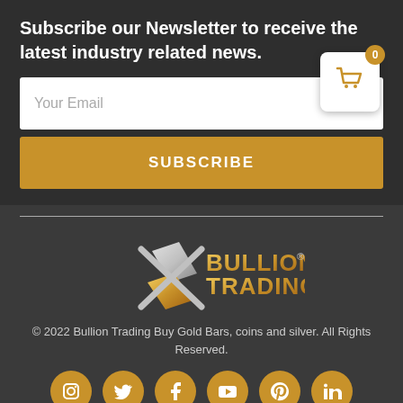Subscribe our Newsletter to receive the latest industry related news.
[Figure (screenshot): Email subscription form with a white input field labeled 'Your Email', a cart icon with badge showing 0, and a gold SUBSCRIBE button]
[Figure (logo): Bullion Trading logo with silver and gold bars graphic and stylized text]
© 2022 Bullion Trading Buy Gold Bars, coins and silver. All Rights Reserved.
[Figure (infographic): Row of 6 gold social media icons: Instagram, Twitter, Facebook, YouTube, Pinterest, LinkedIn]